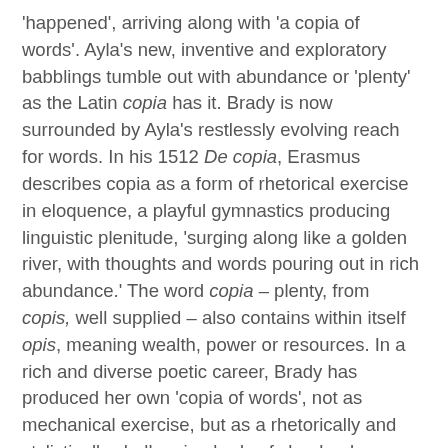'happened', arriving along with 'a copia of words'. Ayla's new, inventive and exploratory babblings tumble out with abundance or 'plenty' as the Latin copia has it. Brady is now surrounded by Ayla's restlessly evolving reach for words. In his 1512 De copia, Erasmus describes copia as a form of rhetorical exercise in eloquence, a playful gymnastics producing linguistic plenitude, 'surging along like a golden river, with thoughts and words pouring out in rich abundance.' The word copia – plenty, from copis, well supplied – also contains within itself opis, meaning wealth, power or resources. In a rich and diverse poetic career, Brady has produced her own 'copia of words', not as mechanical exercise, but as a rhetorically and stylistically challenging body of chapbooks, collections and long sequences characterised by restless interrogation of wealth, excess, power and resources; the shadowy opis immanent in the language of capitalism and abundance.